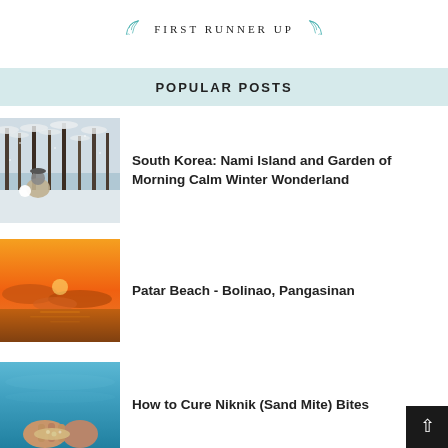[Figure (illustration): First Runner Up award badge with teal laurel leaves on either side and uppercase serif text in the center]
POPULAR POSTS
[Figure (photo): Snowy winter scene with snow-covered trees and a person in a hat holding a snowball]
South Korea: Nami Island and Garden of Morning Calm Winter Wonderland
[Figure (photo): Sunset over Patar Beach with vivid orange sky and calm water]
Patar Beach - Bolinao, Pangasinan
[Figure (photo): Blue tropical beach water with a hand holding sand or shells]
How to Cure Niknik (Sand Mite) Bites